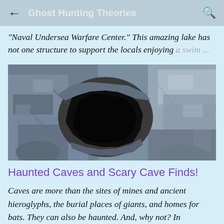Ghost Hunting Theories
"Naval Undersea Warfare Center." This amazing lake has not one structure to support the locals enjoying a swim ...
[Figure (photo): A dark cave opening in rocky cliff face, viewed close up showing blue-grey rock formations with the dark cave entrance in the center.]
Haunted Caves and Scary Cave Finds!
Caves are more than the sites of mines and ancient hieroglyphs, the burial places of giants, and homes for bats. They can also be haunted. And, why not? In